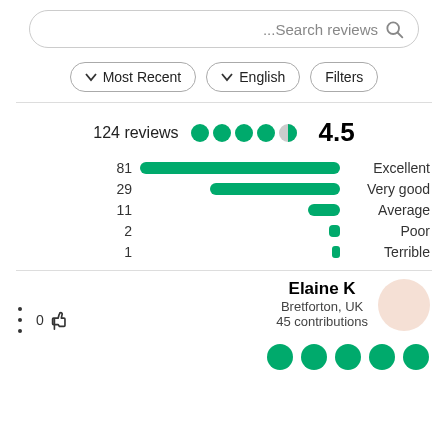[Figure (screenshot): Search reviews bar with magnifying glass icon]
[Figure (screenshot): Filter buttons: Most Recent (dropdown), English (dropdown), Filters]
[Figure (bar-chart): 124 reviews rating 4.5]
Elaine K
Bretforton, UK
45 contributions
[Figure (screenshot): 5 green filled circles representing star rating]